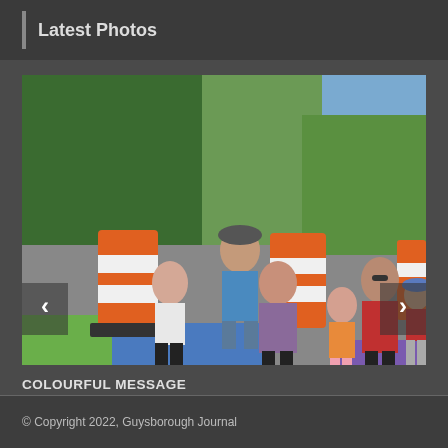Latest Photos
[Figure (photo): A group of six people — one man, two women, and three children — posing together on a road with orange traffic barrels nearby. Green trees and grassy hill in background. Colorful painted markings visible on pavement in foreground.]
COLOURFUL MESSAGE
© Copyright 2022, Guysborough Journal